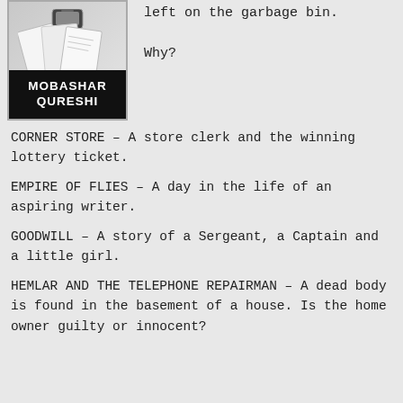[Figure (illustration): Book cover image for Mobashar Qureshi with a black background showing the author name and paper/phone imagery on the upper portion.]
left on the garbage bin.

Why?
CORNER STORE – A store clerk and the winning lottery ticket.
EMPIRE OF FLIES – A day in the life of an aspiring writer.
GOODWILL – A story of a Sergeant, a Captain and a little girl.
HEMLAR AND THE TELEPHONE REPAIRMAN – A dead body is found in the basement of a house. Is the home owner guilty or innocent?